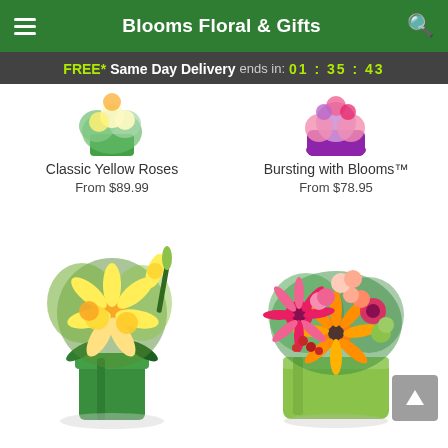Blooms Floral & Gifts
FREE* Same Day Delivery ends in: 01 : 35 : 43
[Figure (photo): Partial top view of Classic Yellow Roses arrangement in green vase]
[Figure (photo): Partial top view of Bursting with Blooms arrangement in purple vase]
Classic Yellow Roses
From $89.99
Bursting with Blooms™
From $78.95
[Figure (photo): Yellow lily and rose arrangement in tall green vase]
[Figure (photo): Colorful mixed flower arrangement with gerbera daisies, pink flowers, and orange blooms in green cube vase]